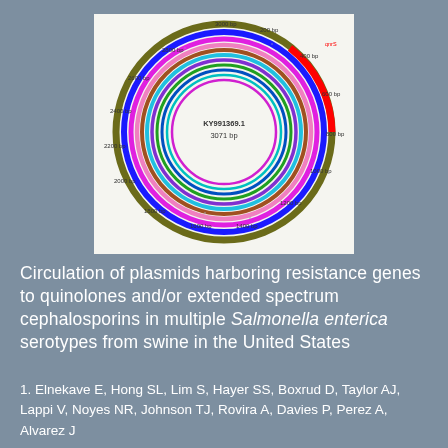[Figure (other): Circular plasmid map showing concentric colored rings representing different genetic elements or tracks. The center shows accession number KY991369.1 and size 3071 bp. Position markers are labeled around the circle: 200 bp, 400 bp, 600 bp, 800 bp, 1000 bp, 1200 bp, 1400 bp, 1600 bp, 1800 bp, 2000 bp, 2200 bp, 2400 bp, 2600 bp, 2800 bp, 3000 bp. Multiple colored concentric rings including red, dark olive, blue, magenta, pink, brown, cyan, purple, and others. A red arc appears at the top right.]
Circulation of plasmids harboring resistance genes to quinolones and/or extended spectrum cephalosporins in multiple Salmonella enterica serotypes from swine in the United States
1. Elnekave E, Hong SL, Lim S, Hayer SS, Boxrud D, Taylor AJ, Lappi V, Noyes NR, Johnson TJ, Rovira A, Davies P, Perez A, Alvarez J